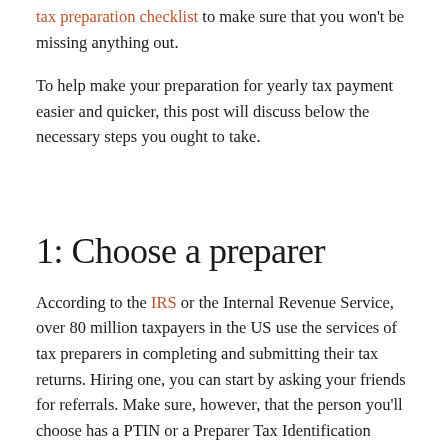tax preparation checklist to make sure that you won't be missing anything out.
To help make your preparation for yearly tax payment easier and quicker, this post will discuss below the necessary steps you ought to take.
1: Choose a preparer
According to the IRS or the Internal Revenue Service, over 80 million taxpayers in the US use the services of tax preparers in completing and submitting their tax returns. Hiring one, you can start by asking your friends for referrals. Make sure, however, that the person you'll choose has a PTIN or a Preparer Tax Identification Number which shows that they are authorized to...